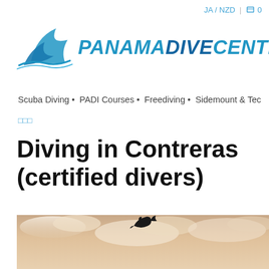JA / NZD  🛒 0
[Figure (logo): Panama Dive Center logo with blue dolphin/wave SVG mark and bold italic text PANAMADIVECENTER]
Scuba Diving • PADI Courses • Freediving • Sidemount & Tec
□□□
Diving in Contreras (certified divers)
[Figure (photo): A dolphin leaping in the air against a warm peachy-pink cloudy sky, viewed from below/side in silhouette]